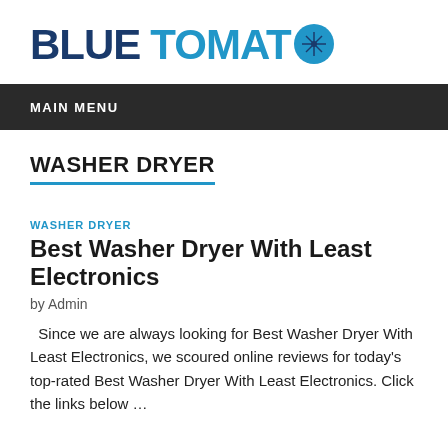BLUE TOMATO
MAIN MENU
WASHER DRYER
WASHER DRYER
Best Washer Dryer With Least Electronics
by Admin
Since we are always looking for Best Washer Dryer With Least Electronics, we scoured online reviews for today's top-rated Best Washer Dryer With Least Electronics. Click the links below …